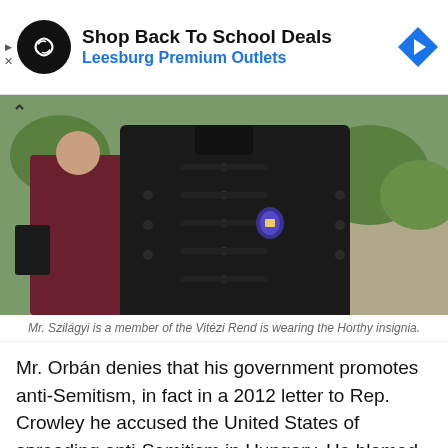[Figure (infographic): Advertisement banner: black circular logo with infinity/loop symbol, text 'Shop Back To School Deals' in bold black, 'Leesburg Premium Outlets' in blue, blue diamond arrow icon on right]
[Figure (photo): Photograph of a person wearing a black Hungarian hussar-style jacket with ornamental frog closures and a badge/insignia, with people and greenery visible in the background]
Mr. Szilágyi is a member of the Vitézi Rend is wearing the Horthy insignia.
Mr. Orbán denies that his government promotes anti-Semitism, in fact in a 2012 letter to Rep. Crowley he accused the United States of spreading anti-Semitism in Hungary. He blamed the US-registered neo-Nazi portal